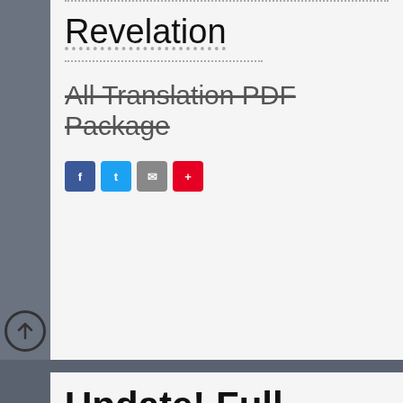Revelation
All Translation PDF Package
[Figure (other): Social share buttons: Facebook (blue), Twitter (light blue), Email (gray), Pinterest (red)]
Update! Full Yahucha Forum
DECEMBER 25TH, 2010
In rather odd irony, I have a little